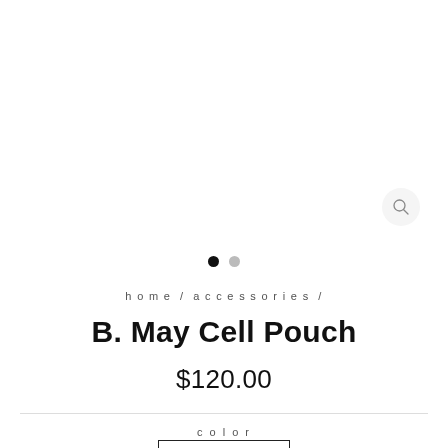[Figure (other): Search magnifying glass icon inside a circular button]
[Figure (other): Carousel navigation dots: one filled black dot and one grey dot]
home / accessories /
B. May Cell Pouch
$120.00
color
[Figure (other): Color swatch box outline (empty white rectangle with black border)]